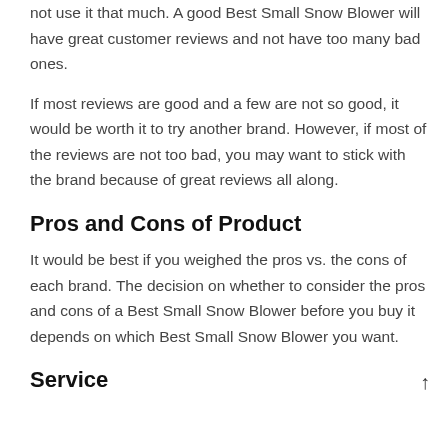not use it that much. A good Best Small Snow Blower will have great customer reviews and not have too many bad ones.
If most reviews are good and a few are not so good, it would be worth it to try another brand. However, if most of the reviews are not too bad, you may want to stick with the brand because of great reviews all along.
Pros and Cons of Product
It would be best if you weighed the pros vs. the cons of each brand. The decision on whether to consider the pros and cons of a Best Small Snow Blower before you buy it depends on which Best Small Snow Blower you want.
Service